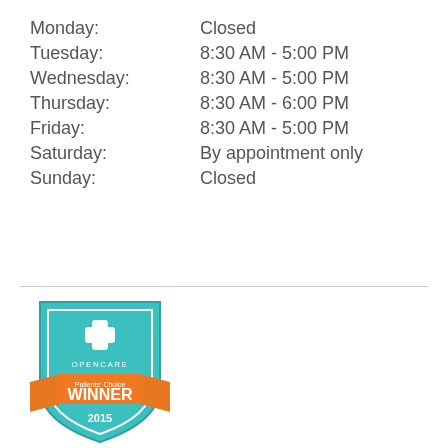| Day | Hours |
| --- | --- |
| Monday: | Closed |
| Tuesday: | 8:30 AM - 5:00 PM |
| Wednesday: | 8:30 AM - 5:00 PM |
| Thursday: | 8:30 AM - 6:00 PM |
| Friday: | 8:30 AM - 5:00 PM |
| Saturday: | By appointment only |
| Sunday: | Closed |
[Figure (logo): Opencare Patients' Choice Winner 2015 badge — teal shield shape with orange ribbon banner reading WINNER, cross/plus icon at top, year 2015 at bottom]
Totalvision Eyecare Center Of Manchester, Pc has been awarded as a top